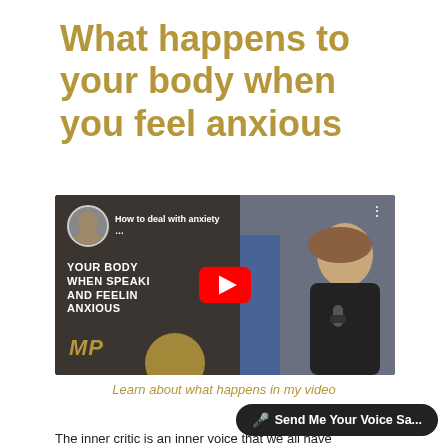What happens to your body when you feel anxious
[Figure (screenshot): YouTube video thumbnail showing a split screen: left side has a dark background with text 'YOUR BODY WHEN SPEAKING AND FEELING ANXIOUS' with a woman avatar and MP logo; right side shows a woman with curly hair speaking into a microphone at an event. YouTube play button overlay in center. Video title: 'How to deal with anxiety ... YOUR BODY WHEN SPEAKING AND FEELING ANXIOUS']
Learn about what happens in my video
Send Me Your Voice Sa...
The inner critic is an inner voice that we all have